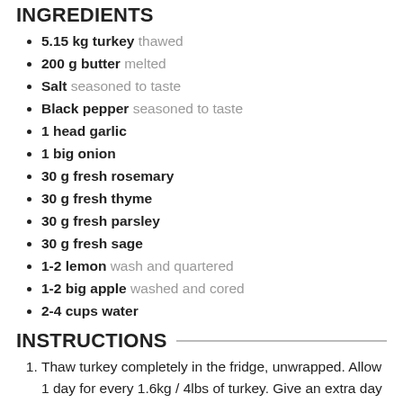INGREDIENTS
5.15 kg turkey thawed
200 g butter melted
Salt seasoned to taste
Black pepper seasoned to taste
1 head garlic
1 big onion
30 g fresh rosemary
30 g fresh thyme
30 g fresh parsley
30 g fresh sage
1-2 lemon wash and quartered
1-2 big apple washed and cored
2-4 cups water
INSTRUCTIONS
Thaw turkey completely in the fridge, unwrapped. Allow 1 day for every 1.6kg / 4lbs of turkey. Give an extra day to completely thaw. Remove from fridge 2 hours to